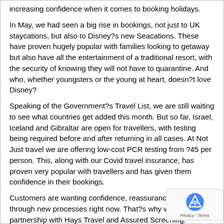increasing confidence when it comes to booking holidays.
In May, we had seen a big rise in bookings, not just to UK staycations, but also to Disney?s new Seacations. These have proven hugely popular with families looking to getaway but also have all the entertainment of a traditional resort, with the security of knowing they will not have to quarantine. And who, whether youngsters or the young at heart, doesn?t love Disney?
Speaking of the Government?s Travel List, we are still waiting to see what countries get added this month. But so far, Israel, Iceland and Gibraltar are open for travellers, with testing being required before and after returning in all cases. At Not Just travel we are offering low-cost PCR testing from ?45 per person. This, along with our Covid travel insurance, has proven very popular with travellers and has given them confidence in their bookings.
Customers are wanting confidence, reassurance and a guide through new processes right now. That?s why we have our partnership with Hays Travel and Assured Screening. Through this, we are able to offer customers the peace of mind and a selection of testing options, from home-testing to same-day testing. It?s just another way the industry is showing how it is flexible, adaptable and doing what it can to protect customers and restore faith in the process. Before, there was a degree of inflexibility around rebookings and refunds in the industry as a whole, but let?s face it, the last year has seen some long-needed changes coming to the fore, which can only be a good thing for customers and travel agents alike.